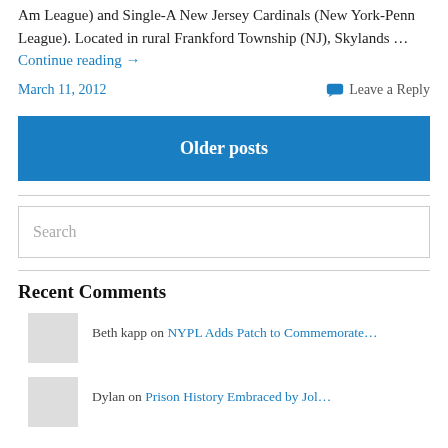Am League) and Single-A New Jersey Cardinals (New York-Penn League).   Located in rural Frankford Township (NJ), Skylands … Continue reading →
March 11, 2012
Leave a Reply
Older posts
Search
Recent Comments
Beth kapp on NYPL Adds Patch to Commemorate…
Dylan on Prison History Embraced by Jol…